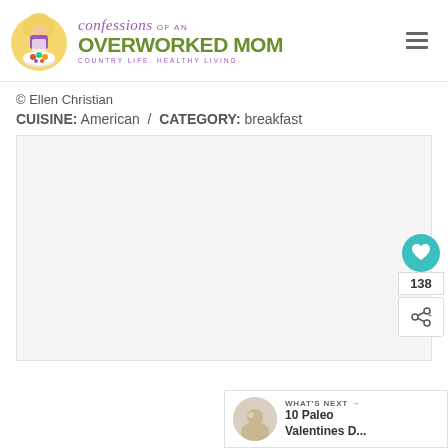[Figure (logo): Confessions of an Overworked Mom blog logo with cartoon illustration of a woman with food]
© Ellen Christian
CUISINE: American / CATEGORY: breakfast
[Figure (other): Empty/loading content image area]
138
WHAT'S NEXT → 10 Paleo Valentines D...